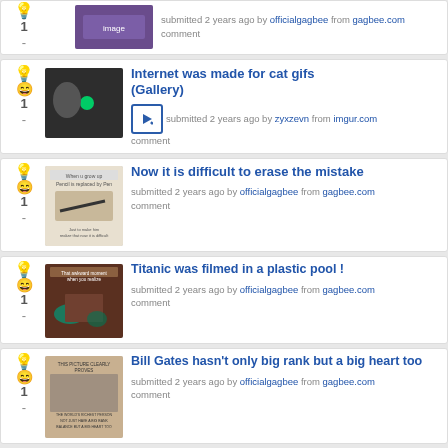1 - submitted 2 years ago by officialgagbee from gagbee.com comment
Internet was made for cat gifs (Gallery) — submitted 2 years ago by zyxzevn from imgur.com comment
Now it is difficult to erase the mistake — submitted 2 years ago by officialgagbee from gagbee.com comment
Titanic was filmed in a plastic pool ! — submitted 2 years ago by officialgagbee from gagbee.com comment
Bill Gates hasn't only big rank but a big heart too — submitted 2 years ago by officialgagbee from gagbee.com comment
Removing painful shark hooks (the